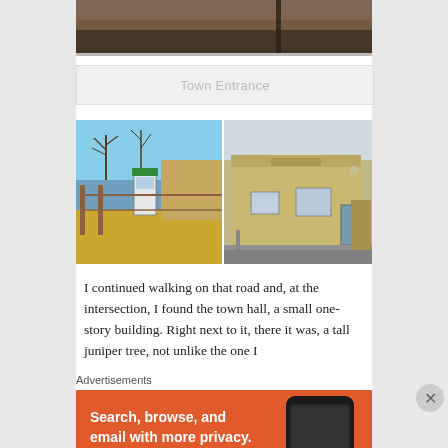[Figure (photo): Top portion of a landscape/rural photo, partially visible — brown grassy field with a dark pole]
Town Entrance
[Figure (photo): Two side-by-side photos: left shows an outdoor phone booth with green sign in a rural setting with bare trees; right shows a small old tan/beige one-story commercial building with blue door]
I continued walking on that road and, at the intersection, I found the town hall, a small one-story building. Right next to it, there it was, a tall juniper tree, not unlike the one I
Advertisements
[Figure (photo): DuckDuckGo advertisement banner — orange background, white bold text: 'Search, browse, and email with more privacy. All in One Free App', with a phone graphic and DuckDuckGo logo/duck icon on the right]